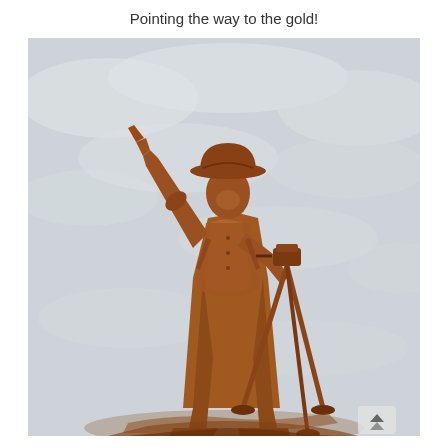Pointing the way to the gold!
[Figure (photo): A rust-colored metal sculpture of a man wearing a wide-brimmed hat, pointing upward with one arm outstretched, standing next to a surveyor's tripod instrument. The statue is made of weathered brown/rust iron or steel and is photographed against a pale cloudy sky.]